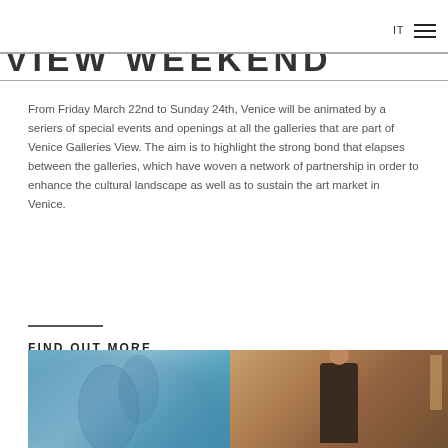IT
VIEW WEEKEND
From Friday March 22nd to Sunday 24th, Venice will be animated by a seriers of special events and openings at all the galleries that are part of Venice Galleries View. The aim is to highlight the strong bond that elapses between the galleries, which have woven a network of partnership in order to enhance the cultural landscape as well as to sustain the art market in Venice.
FIND OUT MORE
[Figure (photo): Photo showing a blue textured surface on the left and a person in a dark coat standing in front of a brick building on the right]